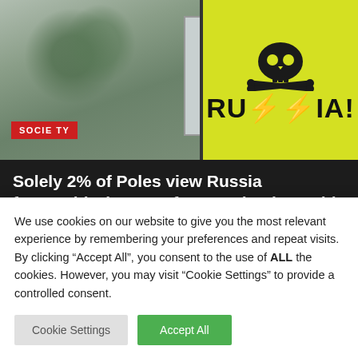[Figure (photo): Newspaper article hero image showing a yellow warning/protest sign with skull-and-crossbones and text 'RUSSIA!' in black, alongside a blurred outdoor street scene with partial text 'ARGI ICZNE' on a billboard. A red 'SOCIETY' badge overlays the bottom-left of the image.]
Solely 2% of Poles view Russia favourably, lowest of any nation in world examine
jasabacklink  June 22, 2022
Poles maintain probably the most unfavorable views
We use cookies on our website to give you the most relevant experience by remembering your preferences and repeat visits. By clicking “Accept All”, you consent to the use of ALL the cookies. However, you may visit "Cookie Settings" to provide a controlled consent.
Cookie Settings   Accept All